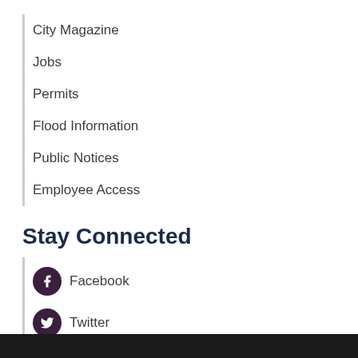City Magazine
Jobs
Permits
Flood Information
Public Notices
Employee Access
Stay Connected
Facebook
Twitter
Instagram
Email Signup